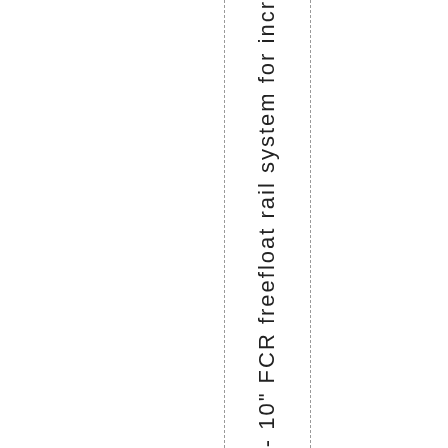- 10" FCR freefloat rail system for incr